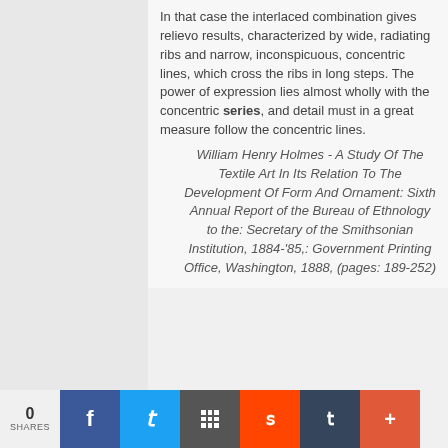In that case the interlaced combination gives relievo results, characterized by wide, radiating ribs and narrow, inconspicuous, concentric lines, which cross the ribs in long steps. The power of expression lies almost wholly with the concentric series, and detail must in a great measure follow the concentric lines.
William Henry Holmes - A Study Of The Textile Art In Its Relation To The Development Of Form And Ornament: Sixth Annual Report of the Bureau of Ethnology to the: Secretary of the Smithsonian Institution, 1884-'85,: Government Printing Office, Washington, 1888, (pages: 189-252)